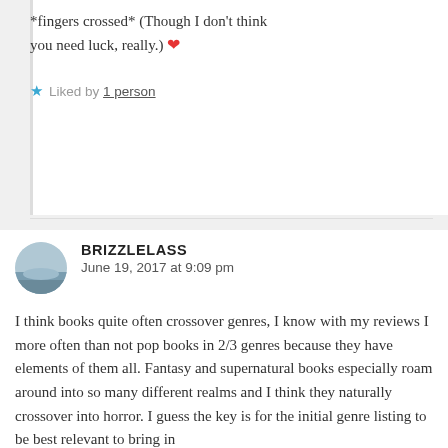*fingers crossed* (Though I don't think you need luck, really.) ❤
★ Liked by 1 person
BRIZZLELASS
June 19, 2017 at 9:09 pm
I think books quite often crossover genres, I know with my reviews I more often than not pop books in 2/3 genres because they have elements of them all. Fantasy and supernatural books especially roam around into so many different realms and I think they naturally crossover into horror. I guess the key is for the initial genre listing to be best relevant to bring in